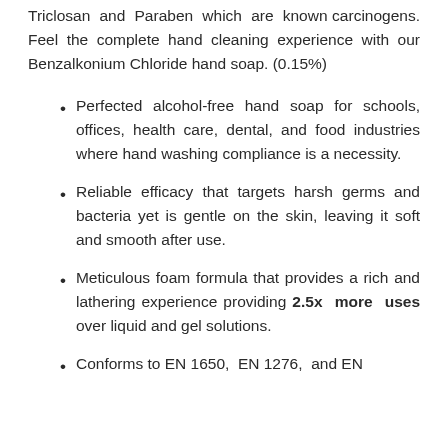Triclosan and Paraben which are known carcinogens. Feel the complete hand cleaning experience with our Benzalkonium Chloride hand soap. (0.15%)
Perfected alcohol-free hand soap for schools, offices, health care, dental, and food industries where hand washing compliance is a necessity.
Reliable efficacy that targets harsh germs and bacteria yet is gentle on the skin, leaving it soft and smooth after use.
Meticulous foam formula that provides a rich and lathering experience providing 2.5x more uses over liquid and gel solutions.
Conforms to EN 1650, EN 1276, and EN